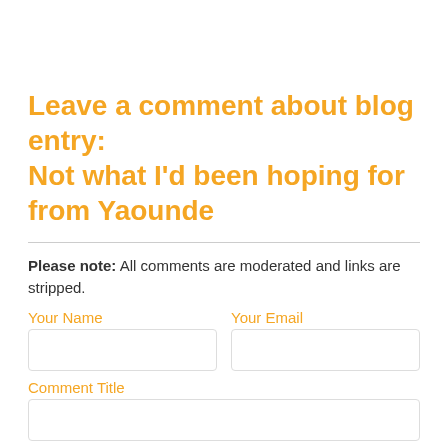Leave a comment about blog entry: Not what I'd been hoping for from Yaounde
Please note: All comments are moderated and links are stripped.
Your Name
Your Email
Comment Title